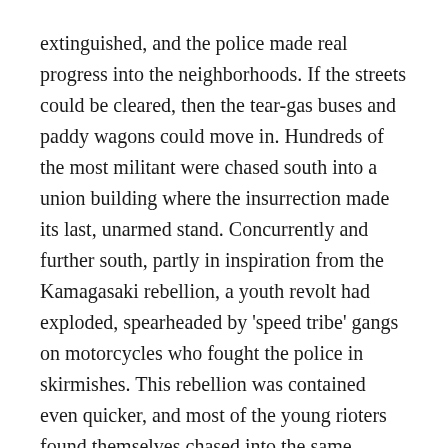extinguished, and the police made real progress into the neighborhoods. If the streets could be cleared, then the tear-gas buses and paddy wagons could move in. Hundreds of the most militant were chased south into a union building where the insurrection made its last, unarmed stand. Concurrently and further south, partly in inspiration from the Kamagasaki rebellion, a youth revolt had exploded, spearheaded by 'speed tribe' gangs on motorcycles who fought the police in skirmishes. This rebellion was contained even quicker, and most of the young rioters found themselves chased into the same building with the older workers. There would be no cavalry for Kamagasaki.
The building was taken with tremendous violence. The 22nd riot in the neighborhood's 30 year history had ended.